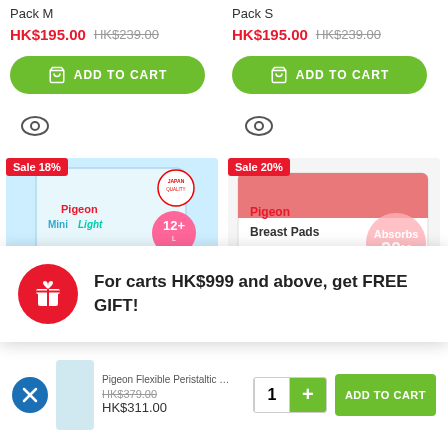Pack M
HK$195.00  HK$239.00
ADD TO CART
Pack S
HK$195.00  HK$239.00
ADD TO CART
Sale 18%
[Figure (photo): Pigeon MiniLight pacifier product in blue/teal packaging, size 12+]
Sale 20%
[Figure (photo): Pigeon Breast Pads ComfyFeel product box, absorbs 20x]
For carts HK$999 and above, get FREE GIFT!
Pigeon Flexible Peristaltic PP Bottle 240ml Twin Pack
HK$379.00  HK$311.00
ADD TO CART